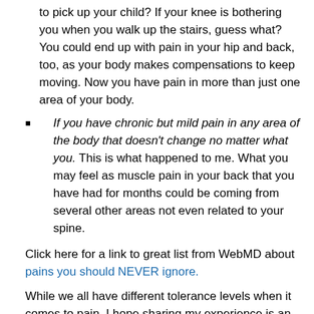to pick up your child? If your knee is bothering you when you walk up the stairs, guess what? You could end up with pain in your hip and back, too, as your body makes compensations to keep moving. Now you have pain in more than just one area of your body.
If you have chronic but mild pain in any area of the body that doesn't change no matter what you. This is what happened to me. What you may feel as muscle pain in your back that you have had for months could be coming from several other areas not even related to your spine.
Click here for a link to great list from WebMD about pains you should NEVER ignore.
While we all have different tolerance levels when it comes to pain, I hope sharing my experience is an example of